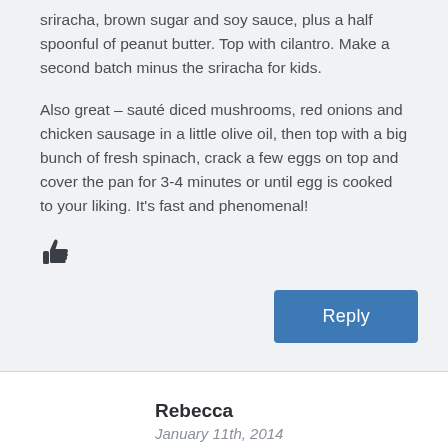sriracha, brown sugar and soy sauce, plus a half spoonful of peanut butter. Top with cilantro. Make a second batch minus the sriracha for kids.
Also great – sauté diced mushrooms, red onions and chicken sausage in a little olive oil, then top with a big bunch of fresh spinach, crack a few eggs on top and cover the pan for 3-4 minutes or until egg is cooked to your liking. It's fast and phenomenal!
[Figure (illustration): Thumbs up icon]
Reply
Rebecca
January 11th, 2014
Question: the leftover short ribs, I assume you froze